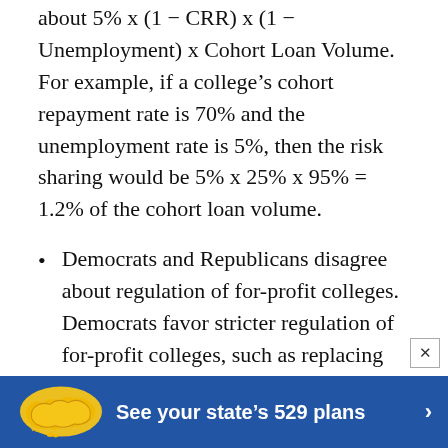about 5% x (1 − CRR) x (1 − Unemployment) x Cohort Loan Volume. For example, if a college's cohort repayment rate is 70% and the unemployment rate is 5%, then the risk sharing would be 5% x 25% x 95% = 1.2% of the cohort loan volume.
Democrats and Republicans disagree about regulation of for-profit colleges. Democrats favor stricter regulation of for-profit colleges, such as replacing the 90/10 rule with an 85/15 rules and counting military student rights and the 90[...] of
[Figure (infographic): Blue banner advertisement showing a yellow US map icon and text 'See your state's 529 plans' with a right arrow, with an X close button in the top right corner.]